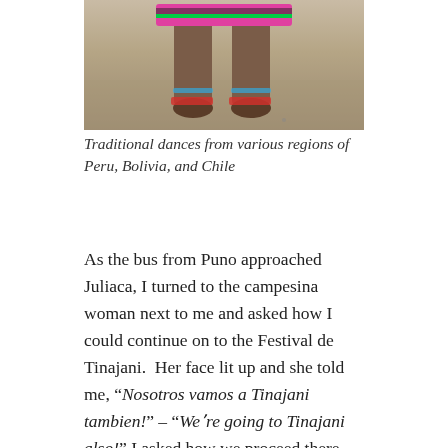[Figure (photo): Close-up photo of feet and lower legs of a dancer in traditional colorful costume with pink and green embroidered hem, standing on sandy/dusty ground]
Traditional dances from various regions of Peru, Bolivia, and Chile
As the bus from Puno approached Juliaca, I turned to the campesina woman next to me and asked how I could continue on to the Festival de Tinajani.  Her face lit up and she told me, “Nosotros vamos a Tinajani tambien!” – “Weʼre going to Tinajani also!” I asked how we proceed there from Juliaca, and she explained rapidly, so I figured it was best just to follow her.  She was with a group of 3 other adults and 2 children, and after we unloaded their buckets of what I assumed was soup to sell at the